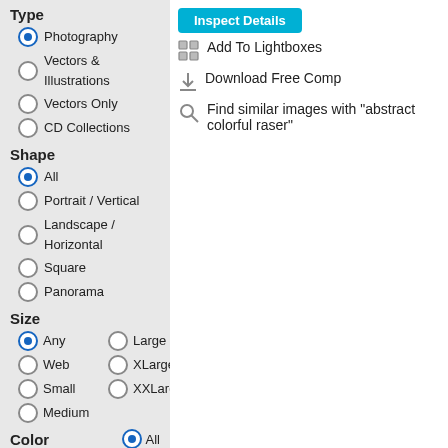Type
Photography (selected)
Vectors & Illustrations
Vectors Only
CD Collections
Shape
All (selected)
Portrait / Vertical
Landscape / Horizontal
Square
Panorama
Size
Any (selected), Large, Web, XLarge, Small, XXLarge, Medium
Color
All (selected)
[Figure (screenshot): Color swatch grid with 16 color options arranged in 3 rows of 5 and 1 row of 1]
[Figure (screenshot): Inspect Details button, Add To Lightboxes link, Download Free Comp link, Find similar images link]